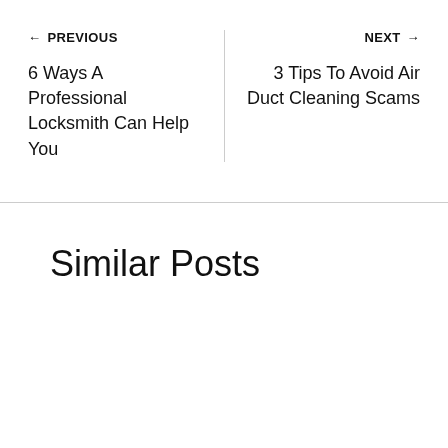← PREVIOUS
6 Ways A Professional Locksmith Can Help You
NEXT →
3 Tips To Avoid Air Duct Cleaning Scams
Similar Posts